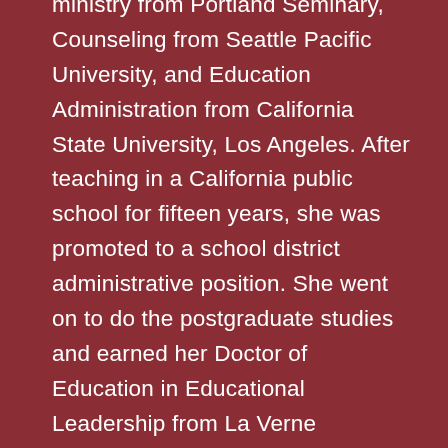ministry from Portland Seminary, Counseling from Seattle Pacific University, and Education Administration from California State University, Los Angeles. After teaching in a California public school for fifteen years, she was promoted to a school district administrative position. She went on to do the postgraduate studies and earned her Doctor of Education in Educational Leadership from La Verne University in California. Dr. Hurdle continued in her administrative position for ten years before her retirement. In her retired life, Dr. Hurdle enjoys doing volunteer counseling, reading, writing, blogging, singing, drawing, watercolor painting, gardening, photographing, and traveling. Dr. Hurdle is married to Lynton Hurdle and has one married daughter and one granddaughter.